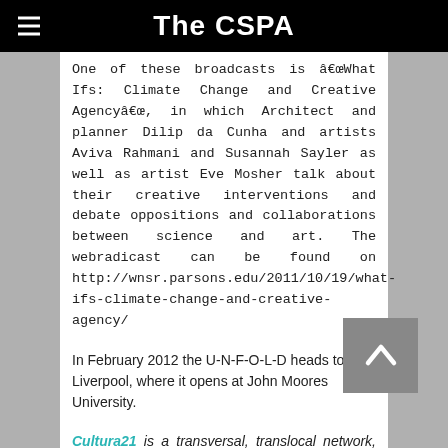The CSPA
One of these broadcasts is â€œWhat Ifs: Climate Change and Creative Agencyâ€œ, in which Architect and planner Dilip da Cunha and artists Aviva Rahmani and Susannah Sayler as well as artist Eve Mosher talk about their creative interventions and debate oppositions and collaborations between science and art. The webradicast can be found on http://wnsr.parsons.edu/2011/10/19/what-ifs-climate-change-and-creative-agency/
In February 2012 the U-N-F-O-L-D heads to Liverpool, where it opens at John Moores University.
Cultura21 is a transversal, translocal network, constituted of an international level grounded in several Cultura21 organizations around the world.
Cultura21â€²s international network, launched in April 2007, offers the online and offline platform for exchanges and mutual